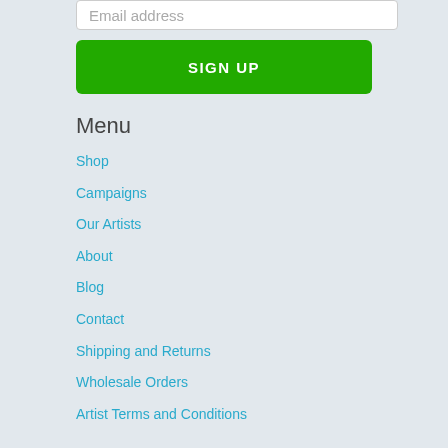Email address
SIGN UP
Menu
Shop
Campaigns
Our Artists
About
Blog
Contact
Shipping and Returns
Wholesale Orders
Artist Terms and Conditions